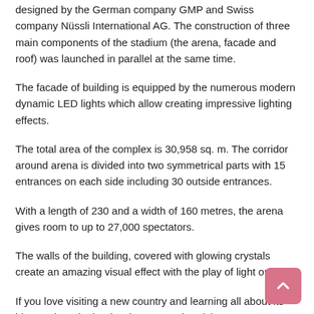designed by the German company GMP and Swiss company Nüssli International AG. The construction of three main components of the stadium (the arena, facade and roof) was launched in parallel at the same time.
The facade of building is equipped by the numerous modern dynamic LED lights which allow creating impressive lighting effects.
The total area of the complex is 30,958 sq. m. The corridor around arena is divided into two symmetrical parts with 15 entrances on each side including 30 outside entrances.
With a length of 230 and a width of 160 metres, the arena gives room to up to 27,000 spectators.
The walls of the building, covered with glowing crystals create an amazing visual effect with the play of light on it.
If you love visiting a new country and learning all about its history, then don`t miss the Stone Chronicle Museum.
The museum, located on the site of State Flag Square, was opened in